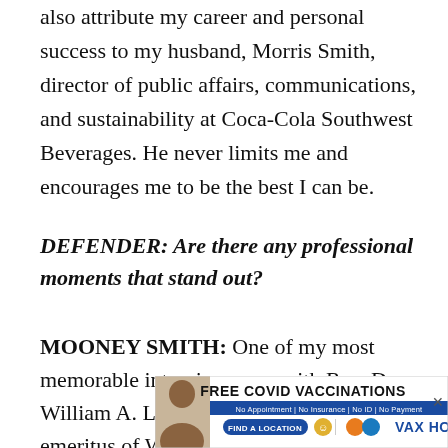also attribute my career and personal success to my husband, Morris Smith, director of public affairs, communications, and sustainability at Coca-Cola Southwest Beverages. He never limits me and encourages me to be the best I can be.
DEFENDER: Are there any professional moments that stand out?
MOONEY SMITH: One of my most memorable interviews was with Rev. Dr. William A. Lawson, founding pastor emeritus of Wheeler Avenue Baptist Church, who discussed the Civil Rights
[Figure (infographic): Advertisement banner for FREE COVID VACCINATIONS. Text reads: FREE COVID VACCINATIONS, No Appointment | No Insurance | No ID | No Payment, FIND A LOCATION, VAX HOU. Includes a photo of a woman and logos.]